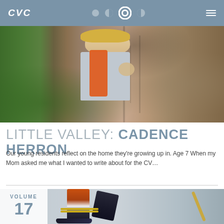CVC
[Figure (photo): Child with blonde hair peeking around a large tree trunk, wearing an orange backpack and grey long-sleeve shirt, outdoors among trees]
LITTLE VALLEY: CADENCE HERRON
Our young residents reflect on the home they're growing up in. Age 7 When my Mom asked me what I wanted to write about for the CV...
[Figure (photo): Lower body of a child athlete in hockey/sports gear with orange shorts, black leg brace with yellow straps, dark shin guards, sneakers, holding a stick, volume 17 overlay box in top left corner]